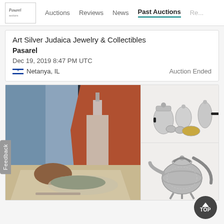Pasarel | Auctions | Reviews | News | Past Auctions | Re...
Art Silver Judaica Jewelry & Collectibles
Pasarel
Dec 19, 2019 8:47 PM UTC
Netanya, IL   Auction Ended
[Figure (photo): Still life oil painting showing a glass bottle/decanter, fish on a plate, bread, and a knife on a table with a draped curtain background]
[Figure (photo): Silver tea/coffee set including ornate pots, cups, and a bowl]
[Figure (photo): Ornate silver teapot with decorative filigree work on three legs]